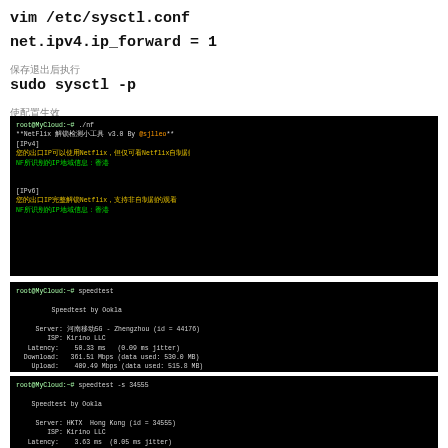vim /etc/sysctl.conf
net.ipv4.ip_forward = 1
保存退出后执行
sudo sysctl -p
使配置生效
[Figure (screenshot): Terminal output showing NetFlix unlock detection tool v3.0 results for IPv4 (only self-made shows, Hong Kong) and IPv6 (full unlock, Hong Kong)]
[Figure (screenshot): Terminal output of speedtest command showing Speedtest by Ookla, Server: 河南移动5G Zhengzhou id=44176, ISP: Kirino LLC, Latency: 50.33ms (0.09 ms jitter), Download: 361.51 Mbps (data used: 530.0 MB), Upload: 409.49 Mbps (data used: 515.8 MB), Packet Loss: 0.0%, Result URL: https://www.speedtest.net/result/r/f9148195-c128-41a3-9bb2-6dfd2c45df24]
[Figure (screenshot): Terminal output of speedtest -s 34555 showing Speedtest by Ookla, Server: HKTX Hong Kong (id=34555), ISP: Kirino LLC, Latency: 3.63 ms (0.05 ms jitter), Download: 417.94 Mbps (data used: 710.1 MB) — partially visible]